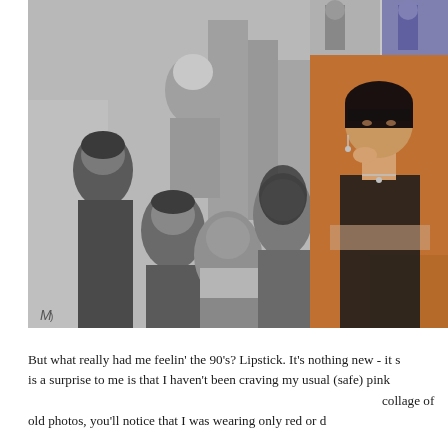[Figure (photo): Black and white photo of five supermodels posing together on a street, 1990s fashion editorial style]
[Figure (photo): Small black and white photo of two figures at top right]
[Figure (photo): Color photo of a young woman with short dark hair sitting in a chair, wearing a black top and necklace, resting her chin on her hand, warm amber lighting]
But what really had me feelin' the 90's? Lipstick. It's nothing new - it s is a surprise to me is that I haven't been craving my usual (safe) pink collage of old photos, you'll notice that I was wearing only red or d